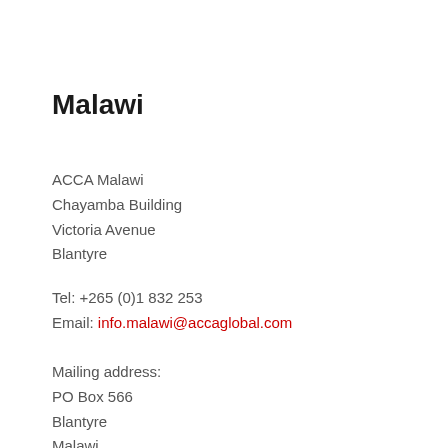Malawi
ACCA Malawi
Chayamba Building
Victoria Avenue
Blantyre
Tel: +265 (0)1 832 253
Email: info.malawi@accaglobal.com
Mailing address:
PO Box 566
Blantyre
Malawi